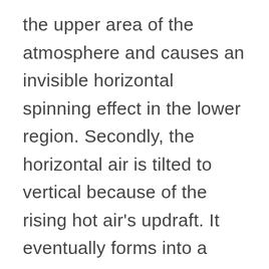the upper area of the atmosphere and causes an invisible horizontal spinning effect in the lower region. Secondly, the horizontal air is tilted to vertical because of the rising hot air's updraft. It eventually forms into a spiral with diameter ranging from 2-6 miles of rotating air. Thirdly, a rotating wall cloud originating from the center of the storm (eye of the storm) is formed as the base cloud. This